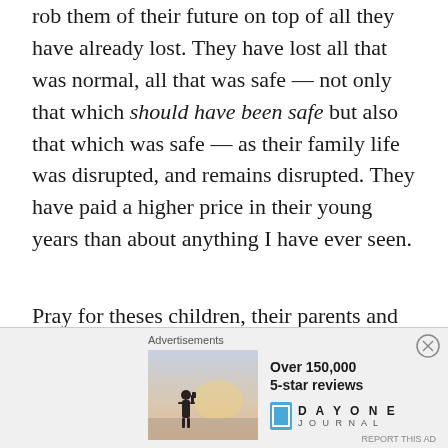rob them of their future on top of all they have already lost. They have lost all that was normal, all that was safe — not only that which should have been safe but also that which was safe — as their family life was disrupted, and remains disrupted. They have paid a higher price in their young years than about anything I have ever seen.
Pray for theses children, their parents and family members as they continue to seek healing.
[Figure (screenshot): Advertisement banner for Day One Journal app showing 'Over 150,000 5-star reviews' with a person silhouette photo and Day One Journal logo]